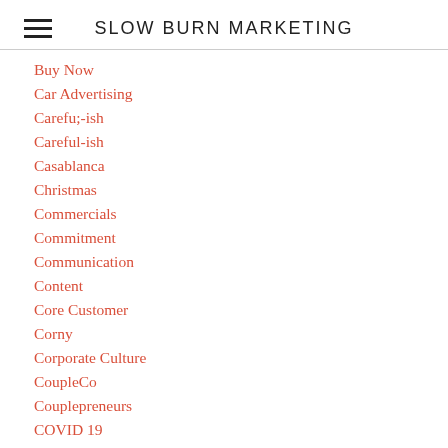SLOW BURN MARKETING
Buy Now
Car Advertising
Carefu;-ish
Careful-ish
Casablanca
Christmas
Commercials
Commitment
Communication
Content
Core Customer
Corny
Corporate Culture
CoupleCo
Couplepreneurs
COVID 19
COVID-19